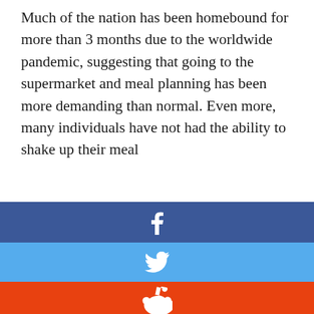Much of the nation has been homebound for more than 3 months due to the worldwide pandemic, suggesting that going to the supermarket and meal planning has been more demanding than normal. Even more, many individuals have not had the ability to shake up their meal
[Figure (infographic): Social sharing buttons: Facebook (dark blue), Twitter (light blue), Reddit (orange), LinkedIn (dark blue), Pinterest (red circle), MeWe (teal), Mix (orange). Cookie consent overlay partially visible. WhatsApp (green) and share icon (grey) at bottom.]